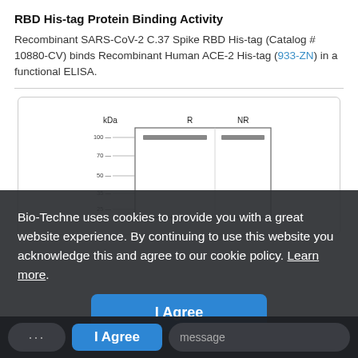RBD His-tag Protein Binding Activity
Recombinant SARS-CoV-2 C.37 Spike RBD His-tag (Catalog # 10880-CV) binds Recombinant Human ACE-2 His-tag (933-ZN) in a functional ELISA.
[Figure (other): SDS-PAGE gel image showing kDa ladder on the left and two lanes labeled R and NR, partially visible with bands around 100 kDa region, partially obscured by cookie consent overlay.]
Bio-Techne uses cookies to provide you with a great website experience. By continuing to use this website you acknowledge this and agree to our cookie policy. Learn more.
I Agree
message